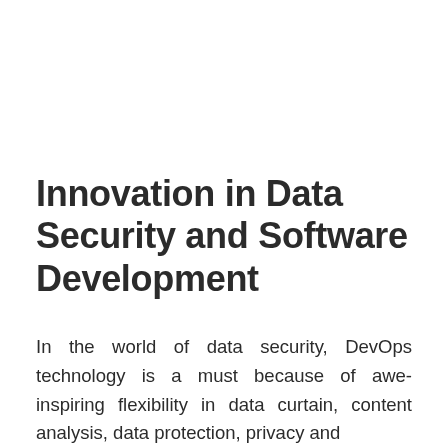Innovation in Data Security and Software Development
In the world of data security, DevOps technology is a must because of awe-inspiring flexibility in data curtain, content analysis, data protection, privacy and